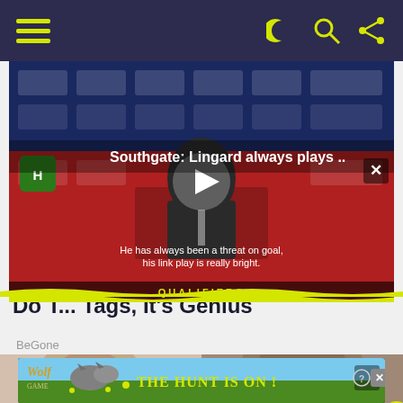Navigation bar with hamburger menu, dark/light toggle, search, and share icons
[Figure (screenshot): Video player showing Gareth Southgate at a press conference with sponsor boards behind him. Title overlay reads 'Southgate: Lingard always plays ..' with a play button in the center. Subtitle text reads 'He has always been a threat on goal, his link play is really bright.' Bottom shows 'QUALIFIERS' branding in yellow.]
Do T... Tags, It's Genius
BeGone
[Figure (photo): Close-up photo of a person (left) and a man's face (right) in two side-by-side images]
[Figure (photo): Advertisement banner showing Wolf game with wolves in a field and text 'THE HUNT IS ON !']